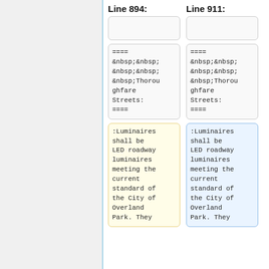Line 894:
Line 911:
==== &nbsp;&nbsp;&nbsp;&nbsp;&nbsp;Thoroughfare Streets: ====
==== &nbsp;&nbsp;&nbsp;&nbsp;&nbsp;Thoroughfare Streets: ====
:Luminaires shall be LED roadway luminaires meeting the current standard of the City of Overland Park. They
:Luminaires shall be LED roadway luminaires meeting the current standard of the City of Overland Park. They